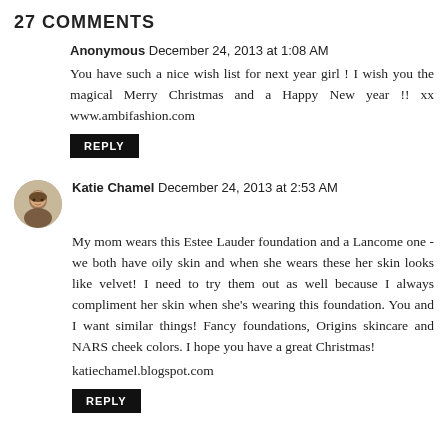27 COMMENTS
Anonymous  December 24, 2013 at 1:08 AM
You have such a nice wish list for next year girl ! I wish you the magical Merry Christmas and a Happy New year !! xx www.ambifashion.com
REPLY
[Figure (photo): Small circular avatar photo of Katie Chamel, showing a woman's face]
Katie Chamel  December 24, 2013 at 2:53 AM
My mom wears this Estee Lauder foundation and a Lancome one - we both have oily skin and when she wears these her skin looks like velvet! I need to try them out as well because I always compliment her skin when she's wearing this foundation. You and I want similar things! Fancy foundations, Origins skincare and NARS cheek colors. I hope you have a great Christmas!

katiechamel.blogspot.com
REPLY